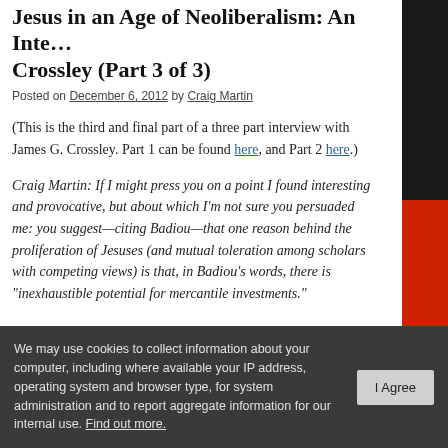Jesus in an Age of Neoliberalism: An Inte… Crossley (Part 3 of 3)
Posted on December 6, 2012 by Craig Martin
(This is the third and final part of a three part interview with James G. Crossley. Part 1 can be found here, and Part 2 here.)
Craig Martin: If I might press you on a point I found interesting and provocative, but about which I'm not sure you persuaded me: you suggest—citing Badiou—that one reason behind the proliferation of Jesuses (and mutual toleration among scholars with competing views) is that, in Badiou's words, there is "inexhaustible potential for mercantile investments."
We may use cookies to collect information about your computer, including where available your IP address, operating system and browser type, for system administration and to report aggregate information for our internal use. Find out more.